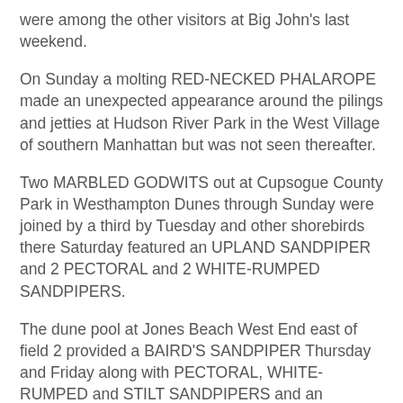were among the other visitors at Big John's last weekend.
On Sunday a molting RED-NECKED PHALAROPE made an unexpected appearance around the pilings and jetties at Hudson River Park in the West Village of southern Manhattan but was not seen thereafter.
Two MARBLED GODWITS out at Cupsogue County Park in Westhampton Dunes through Sunday were joined by a third by Tuesday and other shorebirds there Saturday featured an UPLAND SANDPIPER and 2 PECTORAL and 2 WHITE-RUMPED SANDPIPERS.
The dune pool at Jones Beach West End east of field 2 provided a BAIRD'S SANDPIPER Thursday and Friday along with PECTORAL, WHITE-RUMPED and STILT SANDPIPERS and an additional bonus today was a WILSON'S PHALAROPE.
A WHIMBREL was on the beach at Mattituck Inlet on the north fork last Sunday. An adult BALD EAGLE over the Peconic River in Riverhead Monday lost its fish to an